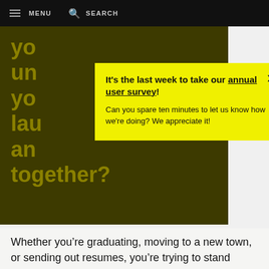MENU   SEARCH
yo
un
yo
lau
an
together?
It's the last week to take our annual user survey! Can you spare ten minutes to let us know how we're doing? We appreciate it!
Whether you’re graduating, moving to a new town, or sending out resumes, you’re trying to stand upright during an earthquake as the fog rolls in. Have you felt this? Are you in there now? Blow your foghorn in the comments section, if